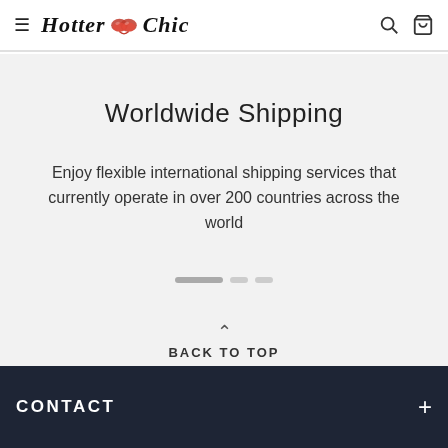HotterChic — navigation header with hamburger menu, logo, search and cart icons
Worldwide Shipping
Enjoy flexible international shipping services that currently operate in over 200 countries across the world
BACK TO TOP
CONTACT +